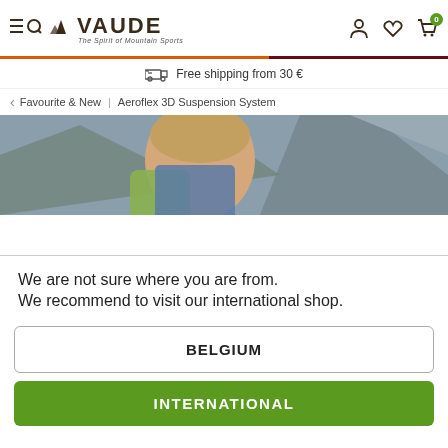VAUDE – The Spirit of Mountain Sports
Free shipping from 30 €
< Favourite & New | Aeroflex 3D Suspension System
[Figure (photo): Young man with a backpack smiling outdoors in front of a rocky mountain background]
We are not sure where you are from.
We recommend to visit our international shop.
BELGIUM
INTERNATIONAL